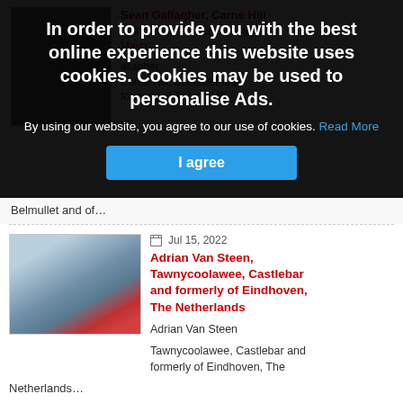In order to provide you with the best online experience this website uses cookies. Cookies may be used to personalise Ads.
By using our website, you agree to our use of cookies. Read More
I agree
Sean Gallagher, Carne Hill, Belmullet and of Errew, Castlehill, Mayo
allagher, Carne Hill, Belmullet and formerly of Tallagh Hill,
Belmullet and of…
Jul 15, 2022
Adrian Van Steen, Tawnycoolawee, Castlebar and formerly of Eindhoven, The Netherlands
Adrian Van Steen
Tawnycoolawee, Castlebar and formerly of Eindhoven, The Netherlands…
Jul 15, 2022